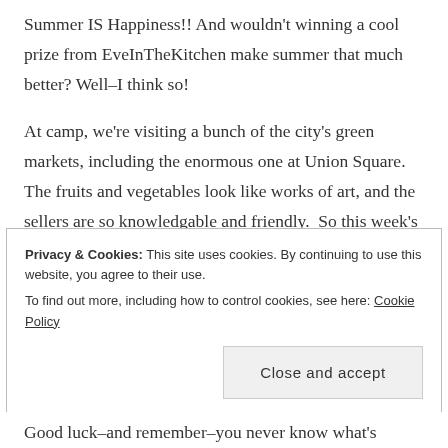Summer IS Happiness!! And wouldn't winning a cool prize from EveInTheKitchen make summer that much better? Well–I think so!
At camp, we're visiting a bunch of the city's green markets, including the enormous one at Union Square. The fruits and vegetables look like works of art, and the sellers are so knowledgable and friendly.  So this week's awsome prize is something vegetable-related . . . I promise you'll love it! Just leave a comment on the blog or like it on Facebook to enter.
Privacy & Cookies: This site uses cookies. By continuing to use this website, you agree to their use. To find out more, including how to control cookies, see here: Cookie Policy
Close and accept
Good luck–and remember–you never know what's